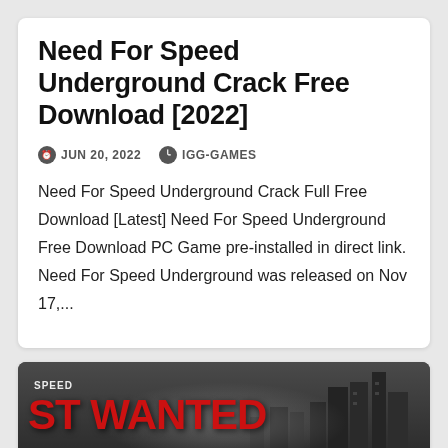Need For Speed Underground Crack Free Download [2022]
JUN 20, 2022   IGG-GAMES
Need For Speed Underground Crack Full Free Download [Latest] Need For Speed Underground Free Download PC Game pre-installed in direct link. Need For Speed Underground was released on Nov 17,...
[Figure (screenshot): Need For Speed Most Wanted game cover art showing a red sports car being chased by a police car on a dark city road, with the 'SPEED ST WANTED' logo visible in large red text on the left.]